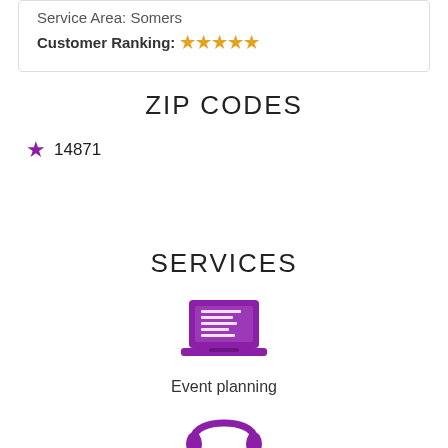Service Area: Somers
Customer Ranking: ★★★★★
ZIP CODES
★ 14871
SERVICES
[Figure (illustration): Purple laptop/computer icon representing event planning service]
Event planning
[Figure (illustration): Purple headphones icon representing another service]